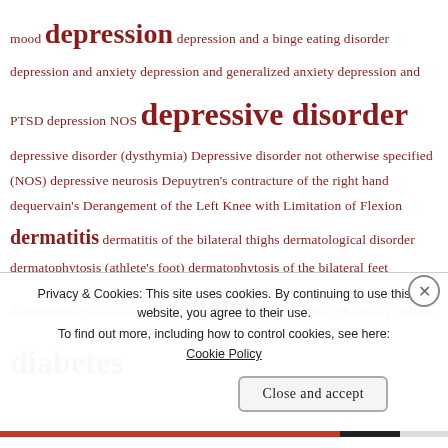mood depression depression and a binge eating disorder depression and anxiety depression and generalized anxiety depression and PTSD depression NOS depressive disorder depressive disorder (dysthymia) Depressive disorder not otherwise specified (NOS) depressive neurosis Depuytren's contracture of the right hand dequervain's Derangement of the Left Knee with Limitation of Flexion dermatitis dermatitis of the bilateral thighs dermatological disorder dermatophytosis (athlete's foot) dermatophytosis of the bilateral feet dextromethorphan dependence diabetes diabetes (diabetes) mellitus diabetes
Privacy & Cookies: This site uses cookies. By continuing to use this website, you agree to their use. To find out more, including how to control cookies, see here: Cookie Policy
Close and accept